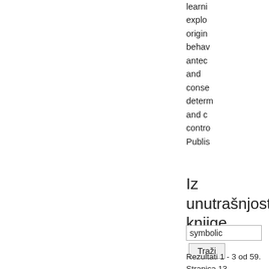learni
explor
origin
behav
antec
and
conse
determ
and c
contro
Publis
Iz unutrašnjosti knjige
symbolic
Traži
Rezultati 1 - 3 od 59.
Stranica 13
The capacity to use
symbols provides